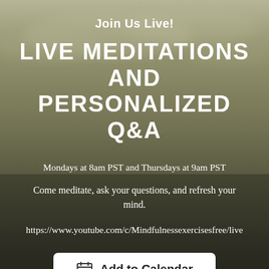[Figure (photo): Aerial/horizon landscape background with muted olive-green and dark earth tones, showing sky with subtle clouds above and dark water/land below]
Join Us Live!
LIVE MEDITATIONS AND PERSONALIZED Q&A
Mondays at 8am PST and Thursdays at 9am PST
Come meditate, ask your questions, and refresh your mind.
https://www.youtube.com/c/Mindfulnessexercisesfree/live
Add to Calendar